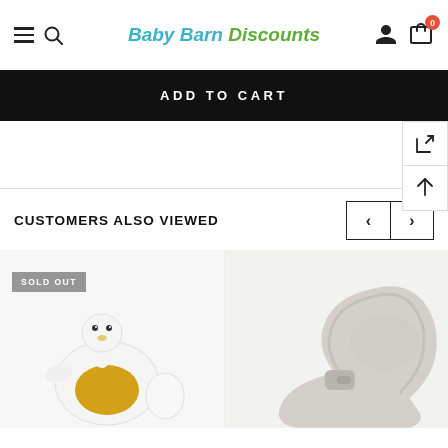Baby Barn Discounts
ADD TO CART
CUSTOMERS ALSO VIEWED
[Figure (photo): Sold out baby toy product - duck-shaped figure in white and yellow/gold colors]
[Figure (photo): Baby nursing pillow / support cushion in light grey/cream fabric]